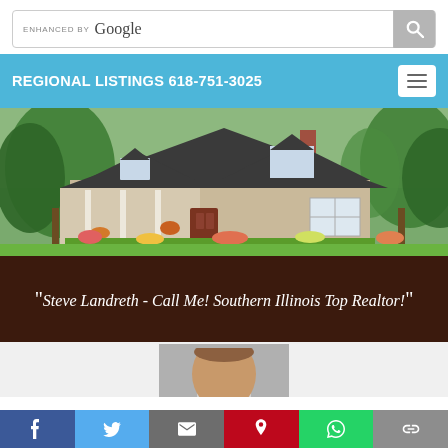[Figure (screenshot): Google enhanced search bar with search icon button]
REGIONAL LISTINGS 618-751-3025
[Figure (photo): A craftsman-style house with a front porch, flower gardens, and large trees in the background]
“Steve Landreth - Call Me! Southern Illinois Top Realtor!”
[Figure (photo): Headshot portrait of a man, partially visible, cropped at forehead level]
f  t  mail  p  whatsapp  link